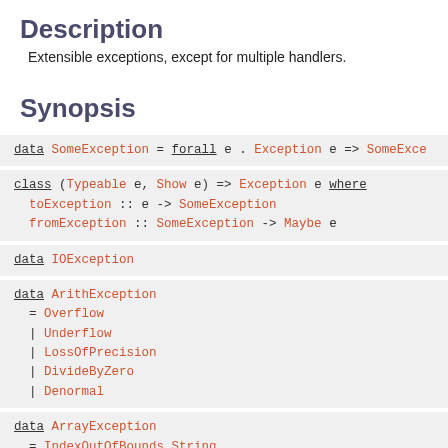Description
Extensible exceptions, except for multiple handlers.
Synopsis
data SomeException = forall e . Exception e => SomeExce...
class (Typeable e, Show e) => Exception e where
  toException :: e -> SomeException
  fromException :: SomeException -> Maybe e
data IOException
data ArithException
  = Overflow
  | Underflow
  | LossOfPrecision
  | DivideByZero
  | Denormal
data ArrayException
  = IndexOutOfBounds String